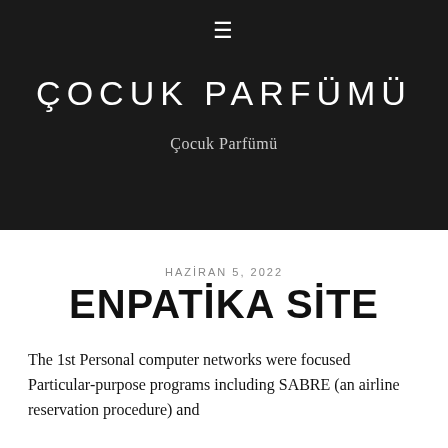≡
ÇOCUK PARFÜMÜ
Çocuk Parfümü
HAZİRAN 5, 2022
ENPATİKA SİTE
The 1st Personal computer networks were focused Particular-purpose programs including SABRE (an airline reservation procedure) and